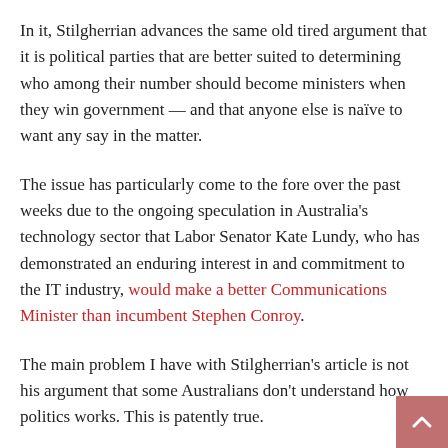In it, Stilgherrian advances the same old tired argument that it is political parties that are better suited to determining who among their number should become ministers when they win government — and that anyone else is naïve to want any say in the matter.
The issue has particularly come to the fore over the past weeks due to the ongoing speculation in Australia's technology sector that Labor Senator Kate Lundy, who has demonstrated an enduring interest in and commitment to the IT industry, would make a better Communications Minister than incumbent Stephen Conroy.
The main problem I have with Stilgherrian's article is not his argument that some Australians don't understand how politics works. This is patently true.